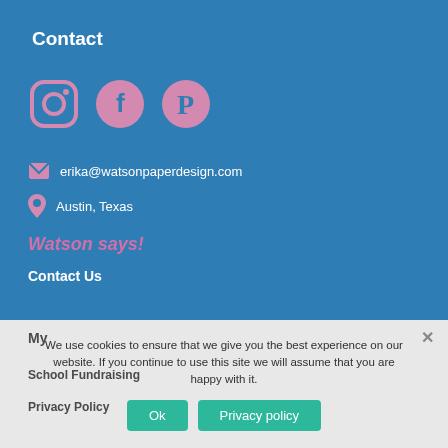Contact
[Figure (illustration): Three social media icons: Instagram (outline circle with camera), Facebook (pink circle with F), Pinterest (pink circle with P)]
erika@watsonpaperdesign.com
Austin, Texas
Watson says!
Contact Us
My
School Fundraising
Privacy Policy
We use cookies to ensure that we give you the best experience on our website. If you continue to use this site we will assume that you are happy with it.